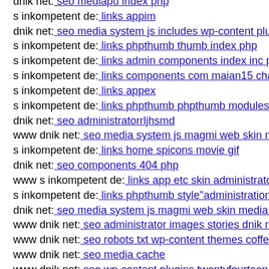dnik net: seo mediapu index php
s inkompetent de: links appim
dnik net: seo media system js includes wp-content plugins
s inkompetent de: links phpthumb thumb index php
s inkompetent de: links admin components index inc php
s inkompetent de: links components com maian15 charts tr
s inkompetent de: links appex
s inkompetent de: links phpthumb phpthumb modules php
dnik net: seo administratorrljhsmd
www dnik net: seo media system js magmi web skin media
s inkompetent de: links home spicons movie gif
dnik net: seo components 404 php
www s inkompetent de: links app etc skin administrator co
s inkompetent de: links phpthumb style''administration dn
dnik net: seo media system js magmi web skin media dow
www dnik net: seo administrator images stories dnik net
www dnik net: seo robots txt wp-content themes coffeebre
www dnik net: seo media cache
www dnik net: seo wp-content plugins twentyfourteen wp-
s inkompetent de: links config dnik net